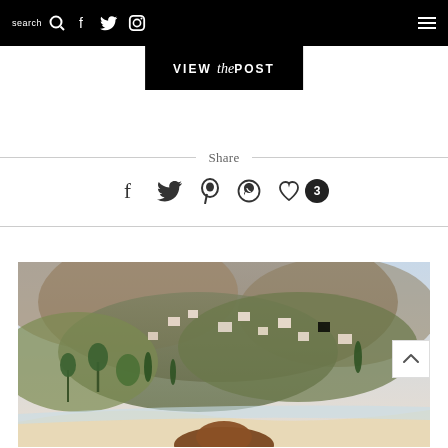search [search icon] [facebook icon] [twitter icon] [instagram icon] [menu icon]
VIEW the POST
Share
[Figure (infographic): Share icons row: Facebook, Twitter, Pinterest, WhatsApp, Heart/Like with count badge showing 3]
[Figure (photo): Hillside town landscape photo, likely Positano or Amalfi Coast, showing white buildings on rocky cliffs with lush green vegetation and palm trees]